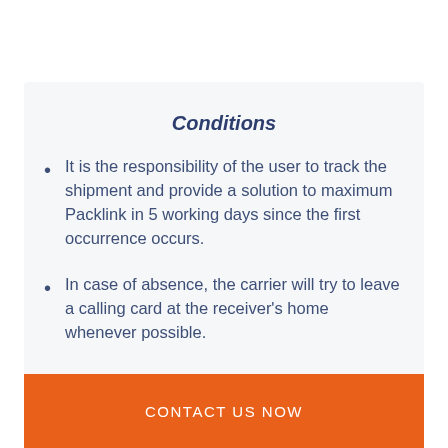Conditions
It is the responsibility of the user to track the shipment and provide a solution to maximum Packlink in 5 working days since the first occurrence occurs.
In case of absence, the carrier will try to leave a calling card at the receiver's home whenever possible.
CONTACT US NOW